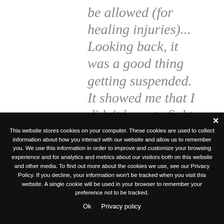be allowed (for healing injuries)... Looking back, it was a good thing getting suspended. It showed me that I didn't have to fight every time a fight came up. I had fought unprepared and unhealthy many times in my career. The
This website stores cookies on your computer. These cookies are used to collect information about how you interact with our website and allow us to remember you. We use this information in order to improve and customize your browsing experience and for analytics and metrics about our visitors both on this website and other media. To find out more about the cookies we use, see our Privacy Policy. If you decline, your information won't be tracked when you visit this website. A single cookie will be used in your browser to remember your preference not to be tracked.
Ok   Privacy policy